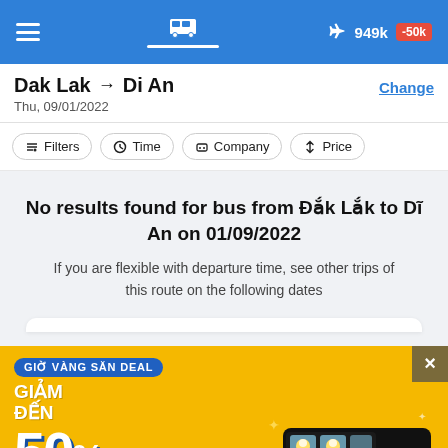Bus navigation app header with hamburger menu, bus icon tab selected, airplane icon with price 949k and -50k badge
Dak Lak → Di An
Thu, 09/01/2022
Change
Filters
Time
Company
Price
No results found for bus from Đắk Lắk to Dĩ An on 01/09/2022
If you are flexible with departure time, see other trips of this route on the following dates
[Figure (illustration): Promotional banner advertisement with yellow background. Text: GIỜ VÀNG SĂN DEAL in blue badge, GIẢM ĐẾN 50% in large white bold text, time 12h đến 13h | Ngày 6.9.2022 in blue pill. Right side shows a black van/minibus on a smartphone screen graphic. Close button (×) top right corner.]